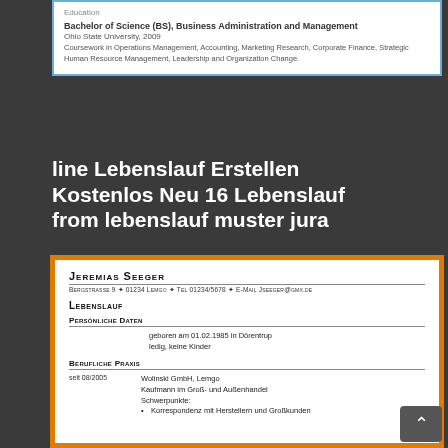Education
Bachelor of Science (BS), Business Administration and Management
Ohio State University, 2009
Coursework in Operations Management, Accounting, Marketing Research, Corporate Finance, Strategic Human Resource Management, Leadership and Organization Change.
line Lebenslauf Erstellen Kostenlos Neu 16 Lebenslauf from lebenslauf muster jura
JEREMIAS SEEGER
BERGSTRASSE 9 ✦ 01234 LEMGO ✦ TEL 01234/5678 ✦ E-MAIL JSEEGER@GMX.DE
LEBENSLAUF
PERSÖNLICHE DATEN
geboren am 01.02.1985 in Dörentrup
ledig, keine Kinder
BERUFLICHE PRAXIS
seit 08/2005
Wolinski GmbH, Lemgo
Kaufmann im Groß- und Außenhandel
Schwerpunkte:
Korrespondenz mit Herstellern und Großkunden